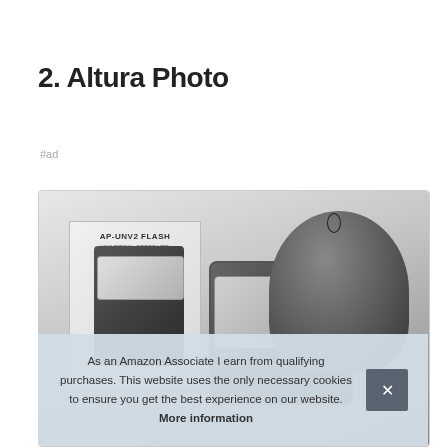2. Altura Photo
#ad
[Figure (photo): Product photo of Altura Photo AP-UNV2 Flash Universal Speedlite shown with box, flash unit, and carrying bag]
As an Amazon Associate I earn from qualifying purchases. This website uses the only necessary cookies to ensure you get the best experience on our website. More information